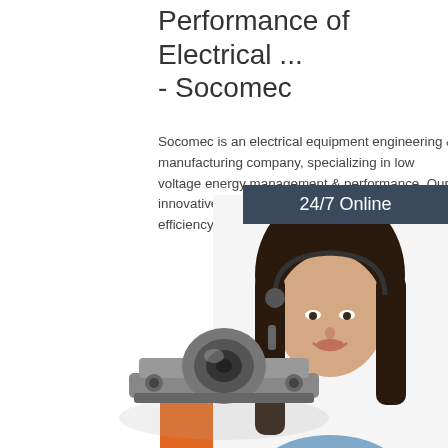Performance of Electrical ... - Socomec
Socomec is an electrical equipment engineering & manufacturing company, specializing in low voltage energy management & performance. Our innovative power solutions ensure the safety & efficiency of your low voltage applications.
[Figure (photo): Customer service representative with headset, 24/7 Online widget with 'Click here for free chat!' and QUOTATION button]
[Figure (photo): Mechanical bearing/connector component product image at bottom of page]
Get Price
24/7 Online
Click here for free chat !
QUOTATION